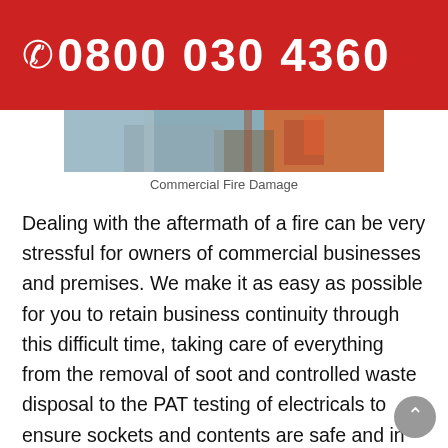0800 030 4360
[Figure (photo): Commercial fire damage scene showing a building interior or exterior with fire/smoke damage]
Commercial Fire Damage
Dealing with the aftermath of a fire can be very stressful for owners of commercial businesses and premises. We make it as easy as possible for you to retain business continuity through this difficult time, taking care of everything from the removal of soot and controlled waste disposal to the PAT testing of electricals to ensure sockets and contents are safe and in good working order following a fire. We engage and listen to your needs to get a resolution to enable you to get your business operational